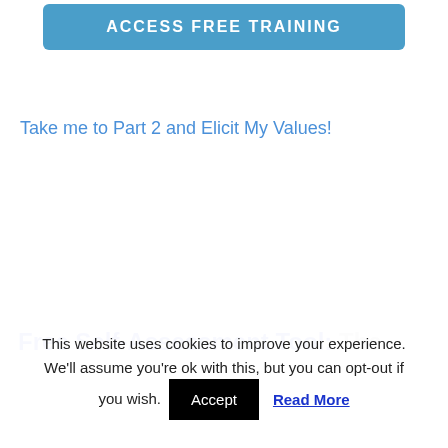[Figure (other): Blue button with text ACCESS FREE TRAINING]
Take me to Part 2 and Elicit My Values!
Free Self-Assessment Tool: The
This website uses cookies to improve your experience. We'll assume you're ok with this, but you can opt-out if you wish. Accept Read More